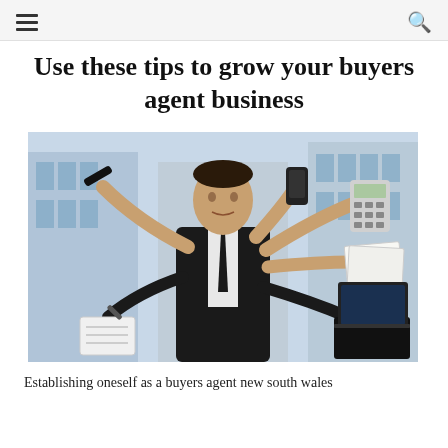≡  🔍
Use these tips to grow your buyers agent business
[Figure (photo): A man in a dark business suit multitasking with multiple arms, holding a pen, talking on a phone, holding a calculator, holding papers, writing in a notebook, and using a laptop, set against a city building background.]
Establishing oneself as a buyers agent new south wales